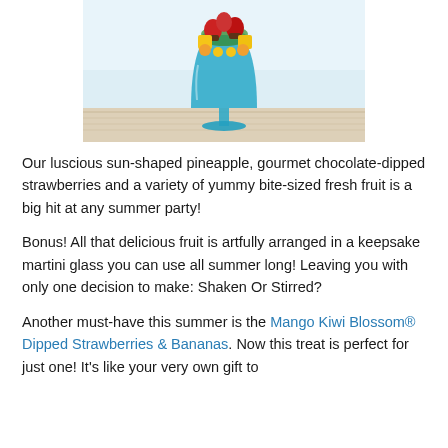[Figure (photo): A fruit arrangement in a turquoise martini/goblet glass, containing chocolate-dipped strawberries, sun-shaped pineapple pieces, and other fresh fruits, displayed on a white wooden surface with a light blue background.]
Our luscious sun-shaped pineapple, gourmet chocolate-dipped strawberries and a variety of yummy bite-sized fresh fruit is a big hit at any summer party!
Bonus! All that delicious fruit is artfully arranged in a keepsake martini glass you can use all summer long! Leaving you with only one decision to make: Shaken Or Stirred?
Another must-have this summer is the Mango Kiwi Blossom® Dipped Strawberries & Bananas. Now this treat is perfect for just one! It's like your very own gift to